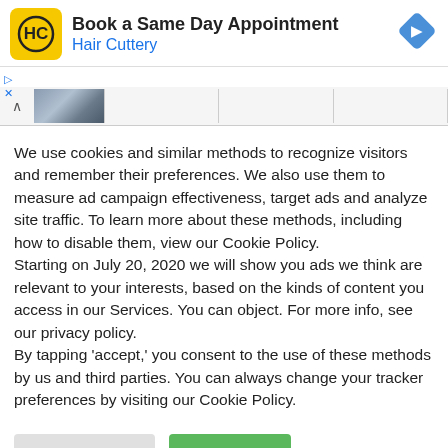[Figure (screenshot): Hair Cuttery ad banner with logo, 'Book a Same Day Appointment' headline, and navigation arrow icon]
[Figure (screenshot): Browser tab bar with chevron and thumbnail image]
We use cookies and similar methods to recognize visitors and remember their preferences. We also use them to measure ad campaign effectiveness, target ads and analyze site traffic. To learn more about these methods, including how to disable them, view our Cookie Policy.
Starting on July 20, 2020 we will show you ads we think are relevant to your interests, based on the kinds of content you access in our Services. You can object. For more info, see our privacy policy.
By tapping 'accept,' you consent to the use of these methods by us and third parties. You can always change your tracker preferences by visiting our Cookie Policy.
[Figure (other): Cookie Settings button (gray) and Accept All button (green)]